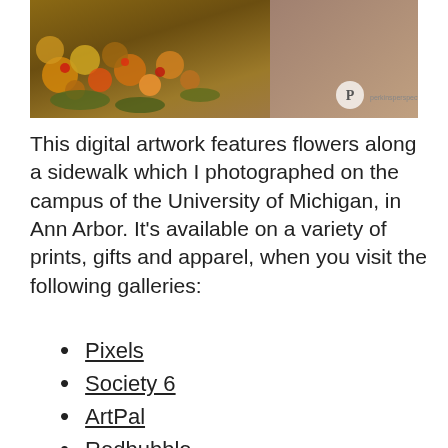[Figure (photo): Digital artwork photograph of flowers along a sidewalk on the University of Michigan campus, with a watermark logo in the bottom right corner]
This digital artwork features flowers along a sidewalk which I photographed on the campus of the University of Michigan, in Ann Arbor. It's available on a variety of prints, gifts and apparel, when you visit the following galleries:
Pixels
Society 6
ArtPal
Redbubble